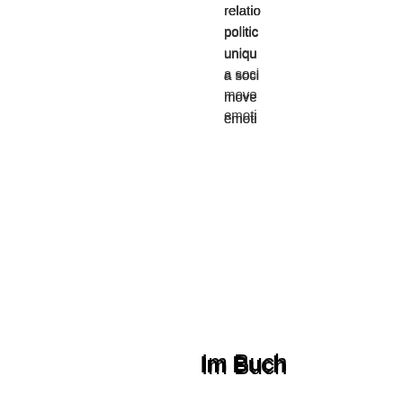relatio... politic... uniqu... a soci... move... emoti...
Im Buch
become
Suche
Ergebnisse 1-3 von 49
Seite 85
He concludes that ethics may be the deep subject of autobiography ( Eakin , How Our Lives Become Stories ) . Nicky Hallet is typical of today's epistolary critics in closing her essay on "